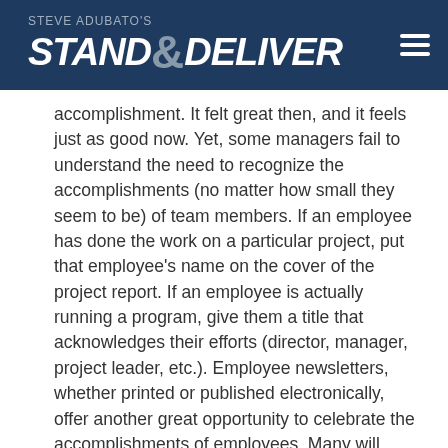STEVE ADUBATO'S STAND & DELIVER
accomplishment. It felt great then, and it feels just as good now. Yet, some managers fail to understand the need to recognize the accomplishments (no matter how small they seem to be) of team members. If an employee has done the work on a particular project, put that employee's name on the cover of the project report. If an employee is actually running a program, give them a title that acknowledges their efforts (director, manager, project leader, etc.). Employee newsletters, whether printed or published electronically, offer another great opportunity to celebrate the accomplishments of employees. Many will hang it in their office, bring it home, tell others and feel really good about themselves. And feeling good about yourself is a tremendous motivator